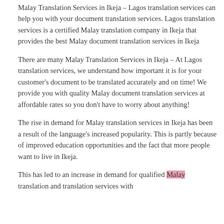Malay Translation Services in Ikeja – Lagos translation services can help you with your document translation services. Lagos translation services is a certified Malay translation company in Ikeja that provides the best Malay document translation services in Ikeja
There are many Malay Translation Services in Ikeja – At Lagos translation services, we understand how important it is for your customer's document to be translated accurately and on time! We provide you with quality Malay document translation services at affordable rates so you don't have to worry about anything!
The rise in demand for Malay translation services in Ikeja has been a result of the language's increased popularity. This is partly because of improved education opportunities and the fact that more people want to live in Ikeja.
This has led to an increase in demand for qualified Malay translation and translation services with...